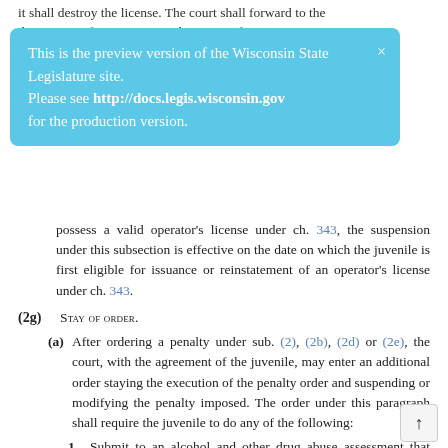it shall destroy the license. The court shall forward to the department of transportation the notice of suspension
[Figure (screenshot): Preview banner: 'This is the preview version of the Wisconsin State Legislature site. Please see http://docs.legis.wisconsin.gov for the production version.' with a close X button.]
possess a valid operator’s license under ch. 343, the suspension under this subsection is effective on the date on which the juvenile is first eligible for issuance or reinstatement of an operator’s license under ch. 343.
(2g) STAY OF ORDER.
(a) After ordering a penalty under sub. (2), (2b), (2d) or (2e), the court, with the agreement of the juvenile, may enter an additional order staying the execution of the penalty order and suspending or modifying the penalty imposed. The order under this paragraph shall require the juvenile to do any of the following:
1. Submit to an alcohol and other drug abuse assessment that conforms to the criteria under s. 938.547 (4) and that is conducted by an approved treatment facility. The order shall designate an approved treatment facility to conduct the alcohol and other drug abuse assessment and shall specify the date by which the assessment must be completed.
2. Participate in an outpatient alcohol or other drug abuse...